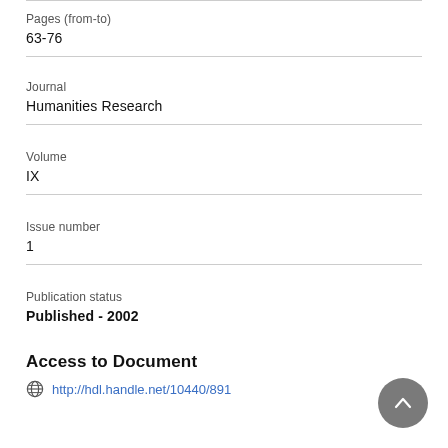Pages (from-to)
63-76
Journal
Humanities Research
Volume
IX
Issue number
1
Publication status
Published - 2002
Access to Document
http://hdl.handle.net/10440/891